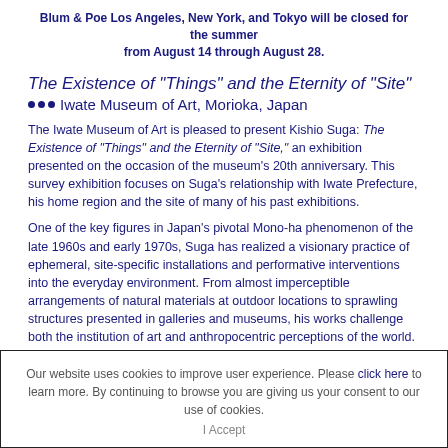Blum & Poe Los Angeles, New York, and Tokyo will be closed for the summer from August 14 through August 28.
The Existence of "Things" and the Eternity of "Site"
Iwate Museum of Art, Morioka, Japan
The Iwate Museum of Art is pleased to present Kishio Suga: The Existence of "Things" and the Eternity of "Site," an exhibition presented on the occasion of the museum's 20th anniversary. This survey exhibition focuses on Suga's relationship with Iwate Prefecture, his home region and the site of many of his past exhibitions.
One of the key figures in Japan's pivotal Mono-ha phenomenon of the late 1960s and early 1970s, Suga has realized a visionary practice of ephemeral, site-specific installations and performative interventions into the everyday environment. From almost imperceptible arrangements of natural materials at outdoor locations to sprawling structures presented in galleries and museums, his works challenge both the institution of art and anthropocentric perceptions of the world.
Our website uses cookies to improve user experience. Please click here to learn more. By continuing to browse you are giving us your consent to our use of cookies.
I Accept